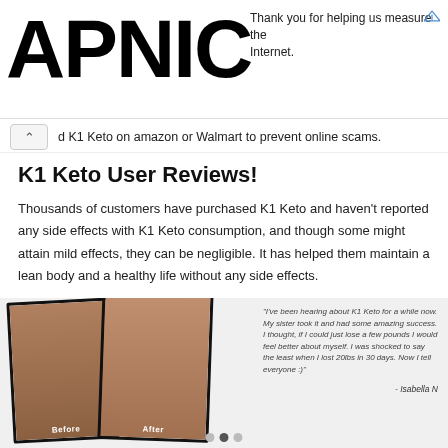APNIC  Thank you for helping us measure the Internet.
d K1 Keto on amazon or Walmart to prevent online scams.
K1 Keto User Reviews!
Thousands of customers have purchased K1 Keto and haven’t reported any side effects with K1 Keto consumption, and though some might attain mild effects, they can be negligible. It has helped them maintain a lean body and a healthy life without any side effects.
[Figure (photo): Before and after weight loss photos of a woman, side by side, slightly overlapping and rotated. Left photo labeled 'Before' shows larger body, right photo labeled 'After' shows slimmer body. Gray diagonal background.]
“I’ve been hearing about K1 Keto for a while now. My sister took it and had some amazing success. I thought, if I could just lose a few pounds I would feel better about myself. I was shocked to say the least when I lost 20lbs in 30 days. Now I tell everyone :)"

- Isabella N